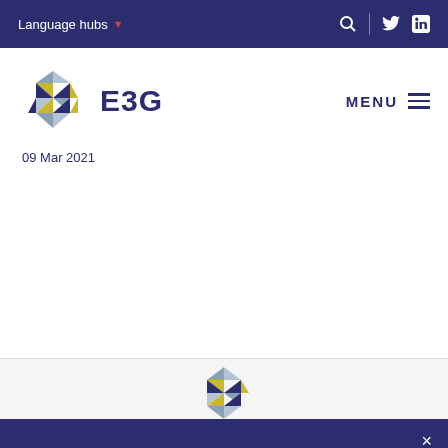Language hubs
[Figure (logo): E3G hexagonal geometric logo with triangular segments in blue, yellow, and dark blue colors]
E3G
09 Mar 2021
[Figure (logo): E3G hexagonal logo (smaller) in footer area]
E3G uses cookies to ensure you get the best experience on e3g.org. Read our privacy policy
Accept